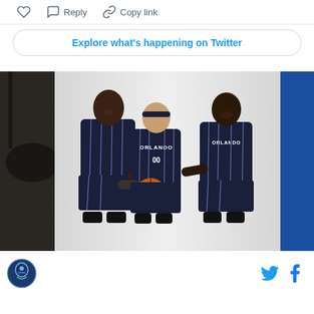[Figure (screenshot): Twitter UI action bar with heart/like icon, reply icon with 'Reply' text, and link/copy icon with 'Copy link' text]
Explore what's happening on Twitter
[Figure (photo): Three Orlando Magic NBA players in navy blue pinstripe uniforms posing together during media day. The center player wears jersey #00 and holds a basketball. All three are smiling and laughing.]
[Figure (logo): Site logo (bird/phoenix icon in a circle) on the left, Twitter bird icon and Facebook 'f' icon on the right in the footer]